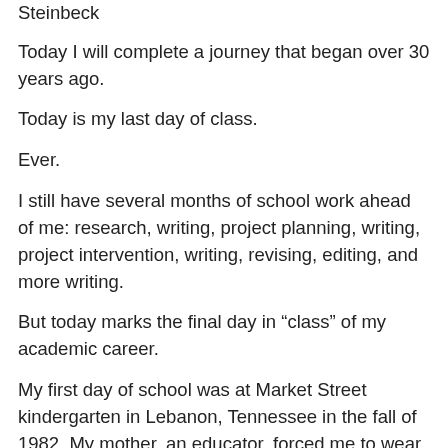Steinbeck
Today I will complete a journey that began over 30 years ago.
Today is my last day of class.
Ever.
I still have several months of school work ahead of me: research, writing, project planning, writing, project intervention, writing, revising, editing, and more writing.
But today marks the final day in “class” of my academic career.
My first day of school was at Market Street kindergarten in Lebanon, Tennessee in the fall of 1982. My mother, an educator, forced me to wear “Sunday clothes” for my first